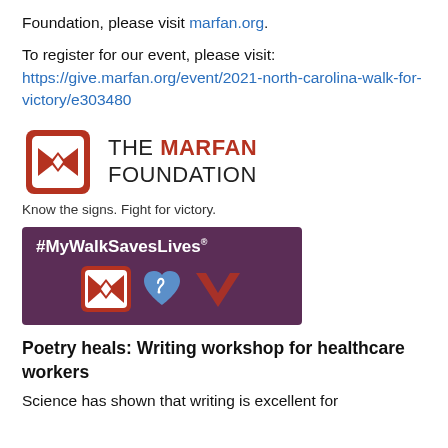Foundation, please visit marfan.org.
To register for our event, please visit: https://give.marfan.org/event/2021-north-carolina-walk-for-victory/e303480
[Figure (logo): The Marfan Foundation logo with red bracket/bowtie icon and text 'THE MARFAN FOUNDATION' with tagline 'Know the signs. Fight for victory.' followed by a dark purple #MyWalkSavesLives banner with Marfan logo icon, heart icon, and victory arrow icon.]
Poetry heals: Writing workshop for healthcare workers
Science has shown that writing is excellent for